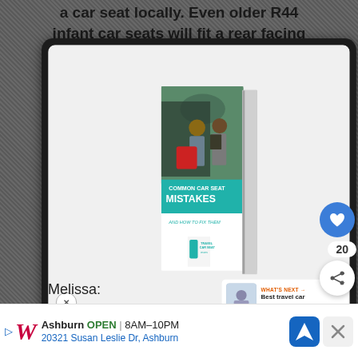a car seat locally. Even older R44 infant car seats will fit a rear facing
[Figure (photo): A book cover displayed on a tablet screen showing 'Common Car Seat Mistakes and How to Fix Them' by Travel Car Seat Mom, with a photo of two people inspecting a car seat]
Melissa:
Ashburn OPEN | 8AM-10PM 20321 Susan Leslie Dr, Ashburn (Walgreens advertisement)